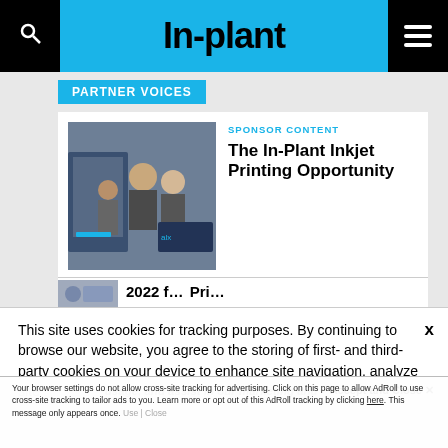In-plant
PARTNER VOICES
SPONSOR CONTENT
The In-Plant Inkjet Printing Opportunity
[Figure (photo): People near a large printing press/inkjet printer]
2022 f... Pri...
This site uses cookies for tracking purposes. By continuing to browse our website, you agree to the storing of first- and third-party cookies on your device to enhance site navigation, analyze site usage, and assist in our marketing and
Accept and Close X
Your browser settings do not allow cross-site tracking for advertising. Click on this page to allow AdRoll to use cross-site tracking to tailor ads to you. Learn more or opt out of this AdRoll tracking by clicking here. This message only appears once.